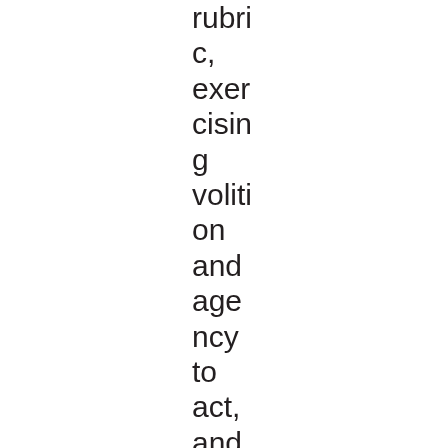rubric, exercising volition and agency to act, and managing affect. Students were